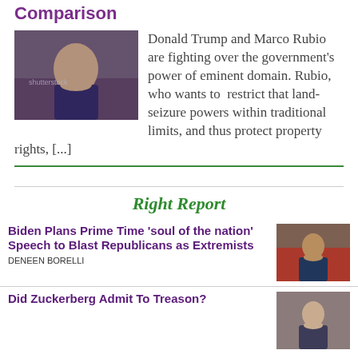Comparison
[Figure (photo): Portrait photo of Marco Rubio in a suit, with shutterstock watermark]
Donald Trump and Marco Rubio are fighting over the government's power of eminent domain. Rubio, who wants to restrict that land-seizure powers within traditional limits, and thus protect property rights, [...]
Right Report
Biden Plans Prime Time ‘soul of the nation’ Speech to Blast Republicans as Extremists
DENEEN BORELLI
[Figure (photo): Photo of Biden speaking at a rally]
Did Zuckerberg Admit To Treason?
[Figure (photo): Photo of Zuckerberg]